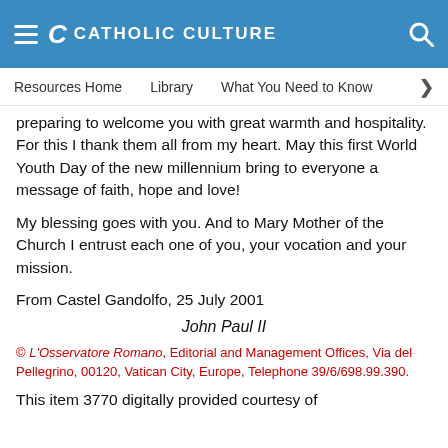CATHOLIC CULTURE
Resources Home   Library   What You Need to Know
preparing to welcome you with great warmth and hospitality. For this I thank them all from my heart. May this first World Youth Day of the new millennium bring to everyone a message of faith, hope and love!
My blessing goes with you. And to Mary Mother of the Church I entrust each one of you, your vocation and your mission.
From Castel Gandolfo, 25 July 2001
John Paul II
© L'Osservatore Romano, Editorial and Management Offices, Via del Pellegrino, 00120, Vatican City, Europe, Telephone 39/6/698.99.390.
This item 3770 digitally provided courtesy of